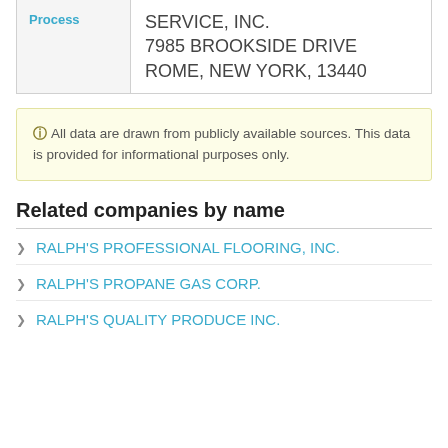| Process |  |
| --- | --- |
|  | SERVICE, INC.
7985 BROOKSIDE DRIVE
ROME, NEW YORK, 13440 |
All data are drawn from publicly available sources. This data is provided for informational purposes only.
Related companies by name
RALPH'S PROFESSIONAL FLOORING, INC.
RALPH'S PROPANE GAS CORP.
RALPH'S QUALITY PRODUCE INC.